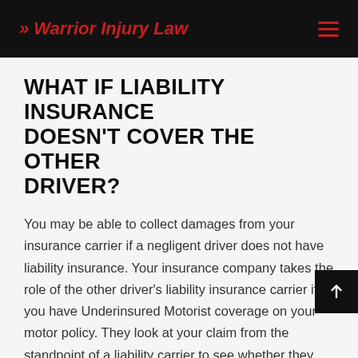Warrior Injury Law
WHAT IF LIABILITY INSURANCE DOESN'T COVER THE OTHER DRIVER?
You may be able to collect damages from your insurance carrier if a negligent driver does not have liability insurance. Your insurance company takes the role of the other driver's liability insurance carrier if you have Underinsured Motorist coverage on your motor policy. They look at your claim from the standpoint of a liability carrier to see whether they owe you money for your losses.
Investigate your claim to assess responsibility